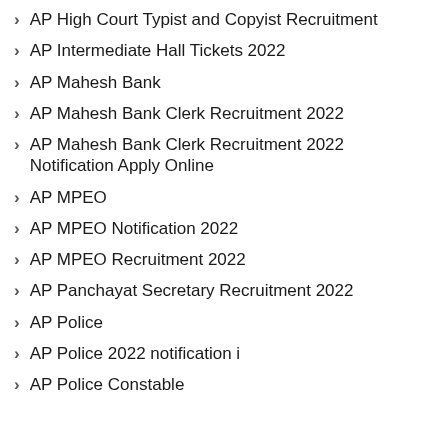AP High Court Typist and Copyist Recruitment
AP Intermediate Hall Tickets 2022
AP Mahesh Bank
AP Mahesh Bank Clerk Recruitment 2022
AP Mahesh Bank Clerk Recruitment 2022 Notification Apply Online
AP MPEO
AP MPEO Notification 2022
AP MPEO Recruitment 2022
AP Panchayat Secretary Recruitment 2022
AP Police
AP Police 2022 notification i
AP Police Constable